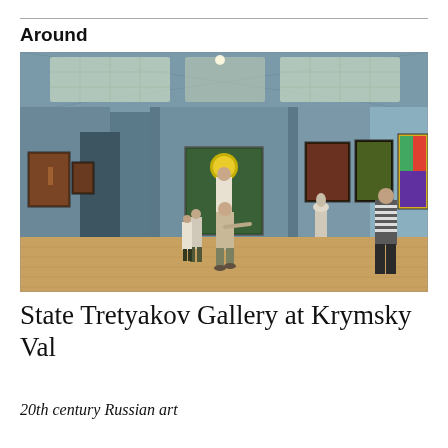Around
[Figure (photo): Interior of the State Tretyakov Gallery at Krymsky Val showing a large museum hall with blue-grey walls, parquet floors, skylight ceiling, paintings hanging on walls, and visitors viewing artwork including a central painting of a figure with a halo.]
State Tretyakov Gallery at Krymsky Val
20th century Russian art